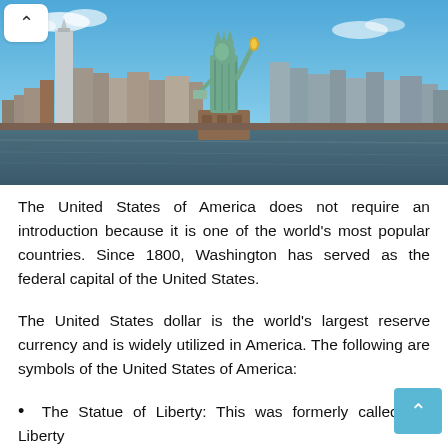[Figure (photo): Photo of the Statue of Liberty with the New York City skyline in the background, across a body of water, under a blue sky with light clouds.]
The United States of America does not require an introduction because it is one of the world's most popular countries. Since 1800, Washington has served as the federal capital of the United States.
The United States dollar is the world's largest reserve currency and is widely utilized in America. The following are symbols of the United States of America:
The Statue of Liberty: This was formerly called the Liberty…